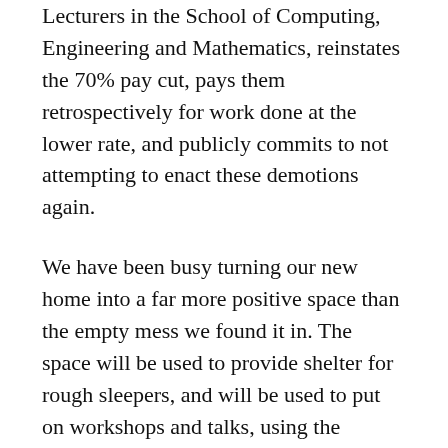Lecturers in the School of Computing, Engineering and Mathematics, reinstates the 70% pay cut, pays them retrospectively for work done at the lower rate, and publicly commits to not attempting to enact these demotions again.
We have been busy turning our new home into a far more positive space than the empty mess we found it in. The space will be used to provide shelter for rough sleepers, and will be used to put on workshops and talks, using the building to educate once again, and to give space for radical groups to come together to share and discuss their politics; a politics which seeks to create a world free from tyranny and oppression, to ensure that no person should go without whilst there is such plenty.
It is a disgrace and a dismal failure of society that